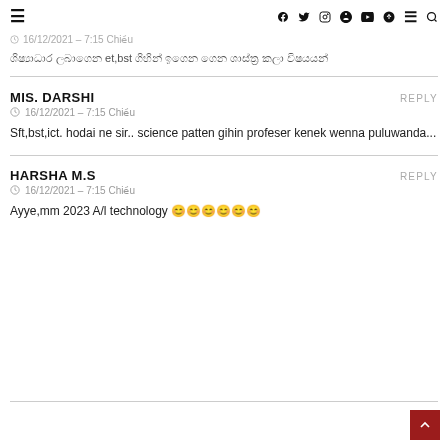≡  f  y  ⊙   pinterest  youtube  snapchat  ≡  🔍
⊙  16/12/2021 – 7:15 Chiều
ශිෂ්‍යාධාර ලබාගෙන et,bst ගිහින් ඉගෙන ගෙන ශාස්ත්‍ර කලා විෂයයන්
MIS. DARSHI
REPLY
⊙  16/12/2021 – 7:15 Chiều
Sft,bst,ict. hodai ne sir.. science patten gihin profeser kenek wenna puluwanda...
HARSHA M.S
REPLY
⊙  16/12/2021 – 7:15 Chiều
Ayye,mm 2023 A/l technology 😊😊😊😊😊😊